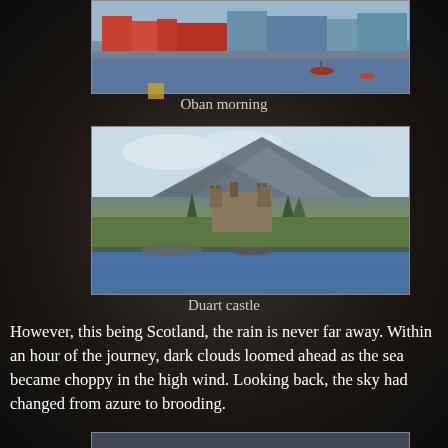[Figure (photo): Oban harbour in the morning with red-roofed buildings, waterfront, and small boats on the water]
Oban morning
[Figure (photo): Duart Castle on a rocky promontory with green hillside and a large mountain behind under a partly cloudy sky, water in the foreground]
Duart castle
However, this being Scotland, the rain is never far away. Within an hour of the journey, dark clouds loomed ahead as the sea became choppy in the high wind. Looking back, the sky had changed from azure to brooding.
[Figure (photo): Partial view of another photograph at the bottom of the page]